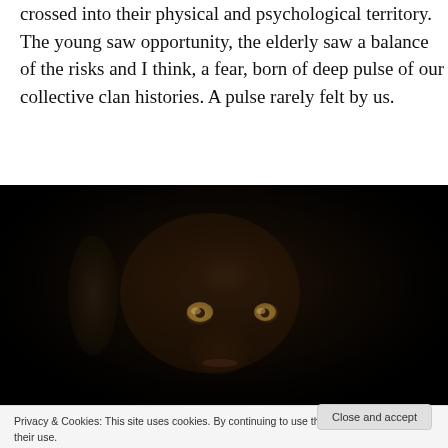crossed into their physical and psychological territory. The young saw opportunity, the elderly saw a balance of the risks and I think, a fear, born of deep pulse of our collective clan histories. A pulse rarely felt by us.
[Figure (photo): A dark, dramatic close-up photograph of a person's face emerging from deep shadow, with only the eyes and faint facial features illuminated against an almost entirely black background.]
Privacy & Cookies: This site uses cookies. By continuing to use this website, you agree to their use.
To find out more, including how to control cookies, see here: Cookie Policy
Close and accept